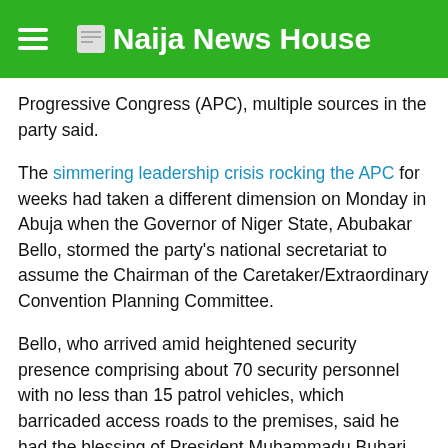Naija News House
Progressive Congress (APC), multiple sources in the party said.
The simmering leadership crisis rocking the APC for weeks had taken a different dimension on Monday in Abuja when the Governor of Niger State, Abubakar Bello, stormed the party's national secretariat to assume the Chairman of the Caretaker/Extraordinary Convention Planning Committee.
Bello, who arrived amid heightened security presence comprising about 70 security personnel with no less than 15 patrol vehicles, which barricaded access roads to the premises, said he had the blessing of President Muhammadu Buhari.